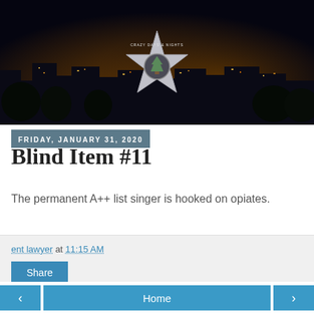[Figure (photo): Blog header banner showing a nighttime city skyline with lights, featuring a Hollywood Walk of Fame style star with a tree icon in the center and text 'CRAZY DAYS & NIGHTS' on it]
FRIDAY, JANUARY 31, 2020
Blind Item #11
The permanent A++ list singer is hooked on opiates.
ent lawyer at 11:15 AM
Share